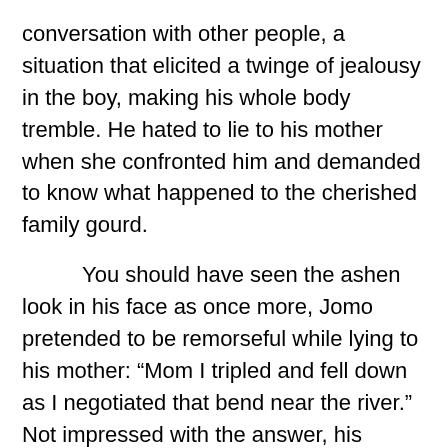conversation with other people, a situation that elicited a twinge of jealousy in the boy, making his whole body tremble. He hated to lie to his mother when she confronted him and demanded to know what happened to the cherished family gourd.
You should have seen the ashen look in his face as once more, Jomo pretended to be remorseful while lying to his mother: “Mom I tripled and fell down as I negotiated that bend near the river.”  Not impressed with the answer, his mother would invariably respond with a slight rebuke, which implied that she too, had played such games when she was his age and therefore she knew what her mischievous son was up to.